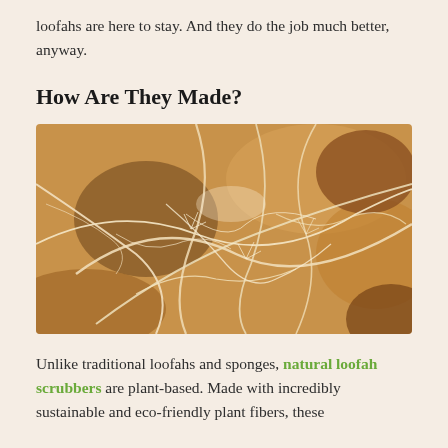loofahs are here to stay. And they do the job much better, anyway.
How Are They Made?
[Figure (photo): Close-up macro photograph of a dry natural loofah sponge showing its fibrous mesh network structure with large open pores, warm beige and tan tones.]
Unlike traditional loofahs and sponges, natural loofah scrubbers are plant-based. Made with incredibly sustainable and eco-friendly plant fibers, these